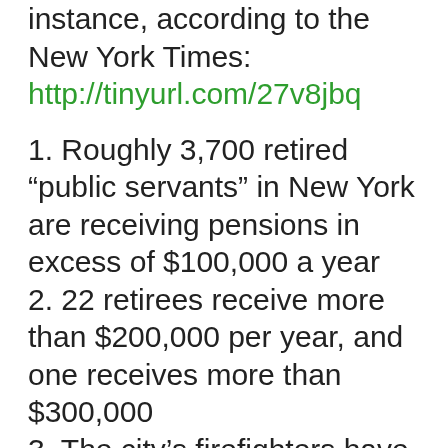instance, according to the New York Times: http://tinyurl.com/27v8jbq
1. Roughly 3,700 retired “public servants” in New York are receiving pensions in excess of $100,000 a year
2. 22 retirees receive more than $200,000 per year, and one receives more than $300,000
3. The city’s firefighters have not yet provided information on